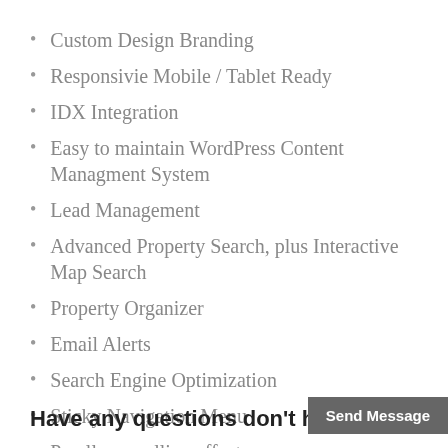Custom Design Branding
Responsivie Mobile / Tablet Ready
IDX Integration
Easy to maintain WordPress Content Managment System
Lead Management
Advanced Property Search, plus Interactive Map Search
Property Organizer
Email Alerts
Search Engine Optimization
Sticky Navigation Menu
Parallax scrolling effects
Have any questions don't
Send Message